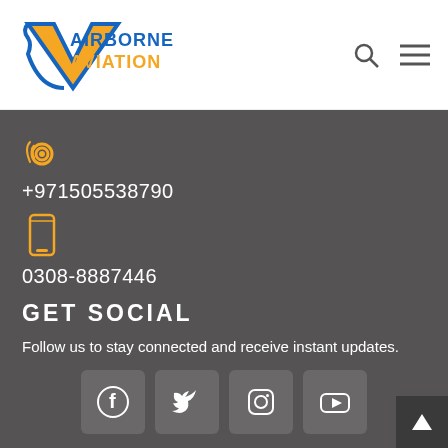Airborne Aviation
[Figure (logo): Airborne Aviation logo with blue/orange V-shape and text]
+971505538790
0308-8887446
GET SOCIAL
Follow us to stay connected and receive instant updates.
[Figure (other): Social media icons row: Facebook, Twitter, Instagram, YouTube]